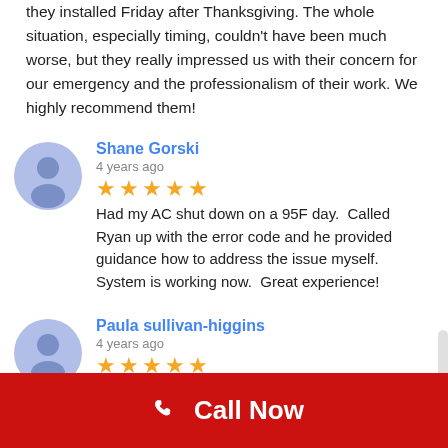they installed Friday after Thanksgiving. The whole situation, especially timing, couldn't have been much worse, but they really impressed us with their concern for our emergency and the professionalism of their work. We highly recommend them!
Shane Gorski
4 years ago
★★★★★ Had my AC shut down on a 95F day. Called Ryan up with the error code and he provided guidance how to address the issue myself. System is working now. Great experience!
Paula sullivan-higgins
4 years ago
★★★★★ Ryan came out to do an estimate ( 5 other Companies also) as our A/C unit was over 22 years old and malfunctioning. He was